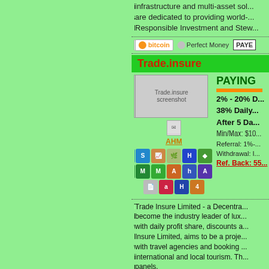infrastructure and multi-asset sol... are dedicated to providing world-... Responsible Investment and Stew...
[Figure (infographic): Payment method icons: Bitcoin, Perfect Money, PAYEER]
Trade.insure
[Figure (screenshot): Trade.insure screenshot with payment processor icons grid and AHM link]
PAYING
2% - 20% D...
38% Daily...
After 5 Da...
Min/Max: $10...
Referral: 1%-...
Withdrawal: I...
Ref. Back: 55...
Trade Insure Limited - a Decentra... become the industry leader of lux... with daily profit share, discounts a... Insure Limited, aims to be a proje... with travel agencies and booking ... international and local tourism. Th... panels.
[Figure (infographic): Payment method icons: Bitcoin, Perfect Money, PAYEER]
BITHOURFUNDS.COM